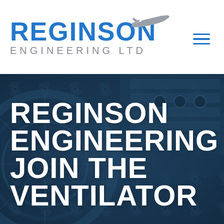[Figure (logo): Reginson Engineering Ltd logo with airplane silhouette and blue text]
[Figure (photo): Close-up of jet engine components with blue tint overlay, showing turbine blades and mechanical parts]
REGINSON ENGINEERING JOIN THE VENTILATOR